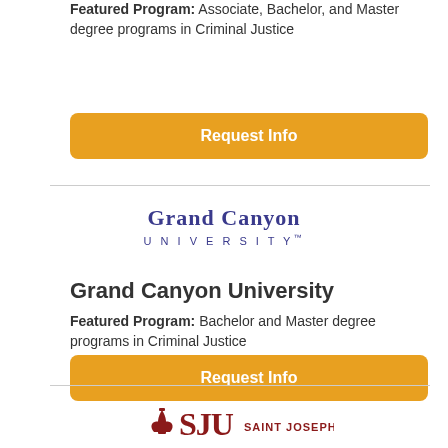Featured Program: Associate, Bachelor, and Master degree programs in Criminal Justice
Request Info
[Figure (other): Grand Canyon University logo with stylized text]
Grand Canyon University
Featured Program: Bachelor and Master degree programs in Criminal Justice
Request Info
[Figure (logo): Saint Joseph's University logo with fleur-de-lis and SJU letters]